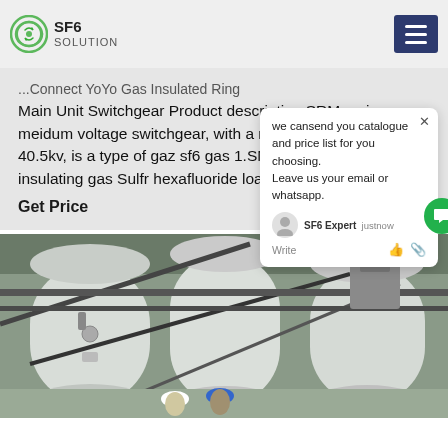SF6 SOLUTION
...Connect YoYo Gas Insulated Ring Main Unit Switchgear Product description SRM series meidum voltage switchgear, with a rated voltage from 10-40.5kv, is a type of gaz sf6 gas 1.SM66-40.5 unit type insulating gas Sulfr hexafluoride load switch as main whole
Get Price
[Figure (screenshot): Chat popup with message: we can send you catalogue and price list for you choosing. Leave us your email or whatsapp. SF6 Expert just now. Write input area.]
[Figure (photo): Industrial facility interior showing large white cylindrical SF6 gas insulated switchgear tanks with pipes and workers in hard hats visible at bottom.]